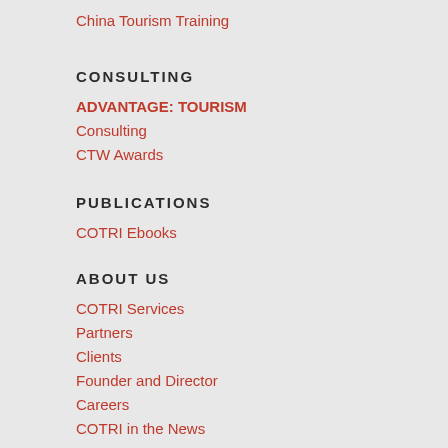China Tourism Training
CONSULTING
ADVANTAGE: TOURISM
Consulting
CTW Awards
PUBLICATIONS
COTRI Ebooks
ABOUT US
COTRI Services
Partners
Clients
Founder and Director
Careers
COTRI in the News